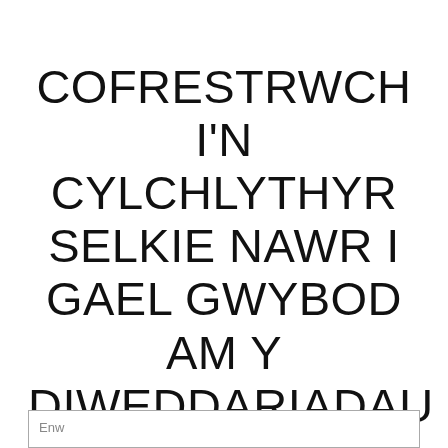COFRESTRWCH I'N CYLCHLYTHYR SELKIE NAWR I GAEL GWYBOD AM Y DIWEDDARIADAU HYN.
Enw